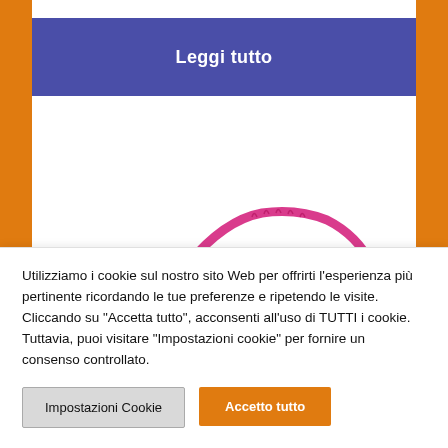[Figure (other): Blue button labeled 'Leggi tutto' (Read all) on a white background with orange side borders]
[Figure (photo): Partial view of pink/magenta rimmed eyeglasses on a white background, partially cropped at bottom]
Utilizziamo i cookie sul nostro sito Web per offrirti l'esperienza più pertinente ricordando le tue preferenze e ripetendo le visite. Cliccando su "Accetta tutto", acconsenti all'uso di TUTTI i cookie. Tuttavia, puoi visitare "Impostazioni cookie" per fornire un consenso controllato.
Impostazioni Cookie
Accetto tutto